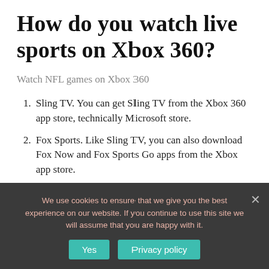How do you watch live sports on Xbox 360?
Watch NFL games on Xbox 360
Sling TV. You can get Sling TV from the Xbox 360 app store, technically Microsoft store.
Fox Sports. Like Sling TV, you can also download Fox Now and Fox Sports Go apps from the Xbox app store.
CBS.
Hulu + Live TV.
We use cookies to ensure that we give you the best experience on our website. If you continue to use this site we will assume that you are happy with it.